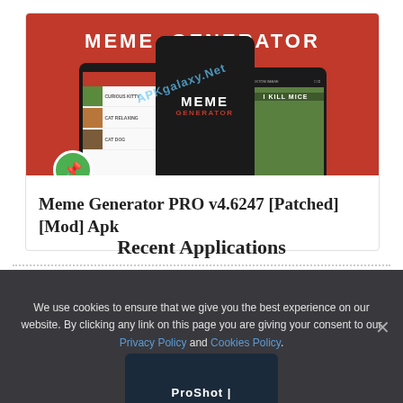[Figure (screenshot): Meme Generator PRO app card with red banner showing 'MEME GENERATOR' text, smartphone mockups, APKgalaxy.Net watermark, and a green pin circle icon. Below shows bold title text.]
Meme Generator PRO v4.6247 [Patched][Mod] Apk
Recent Applications
We use cookies to ensure that we give you the best experience on our website. By clicking any link on this page you are giving your consent to our Privacy Policy and Cookies Policy.
Ok I Agree
[Figure (screenshot): Partial app thumbnail showing ProShot app at the bottom of the page]